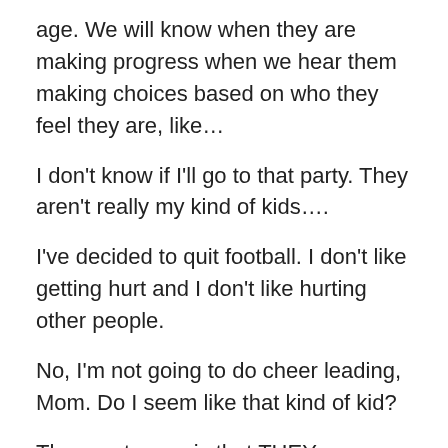age. We will know when they are making progress when we hear them making choices based on who they feel they are, like…
I don't know if I'll go to that party. They aren't really my kind of kids….
I've decided to quit football. I don't like getting hurt and I don't like hurting other people.
No, I'm not going to do cheer leading, Mom. Do I seem like that kind of kid?
The great news is that THEY are figuring out what kind of kids they are.
Share this: